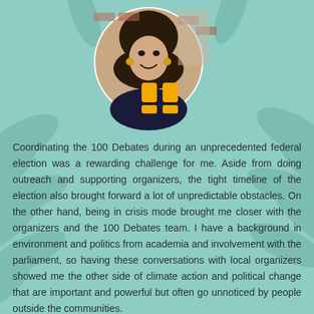[Figure (photo): Circular portrait photo of a young woman smiling, with brick wall background, wearing dark clothing with gold hoop earrings. Large yellow/gold quotation marks overlay the bottom of the photo.]
Coordinating the 100 Debates during an unprecedented federal election was a rewarding challenge for me. Aside from doing outreach and supporting organizers, the tight timeline of the election also brought forward a lot of unpredictable obstacles. On the other hand, being in crisis mode brought me closer with the organizers and the 100 Debates team. I have a background in environment and politics from academia and involvement with the parliament, so having these conversations with local organizers showed me the other side of climate action and political change that are important and powerful but often go unnoticed by people outside the communities.